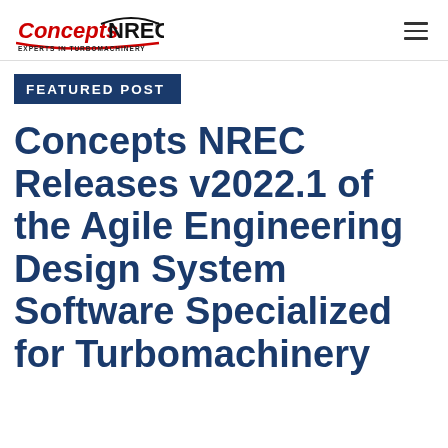Concepts NREC — EXPERTS IN TURBOMACHINERY
FEATURED POST
Concepts NREC Releases v2022.1 of the Agile Engineering Design System Software Specialized for Turbomachinery